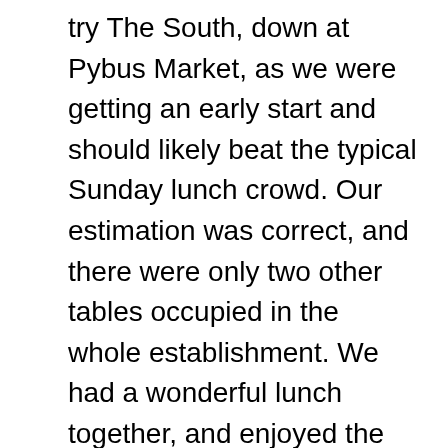try The South, down at Pybus Market, as we were getting an early start and should likely beat the typical Sunday lunch crowd. Our estimation was correct, and there were only two other tables occupied in the whole establishment. We had a wonderful lunch together, and enjoyed the view near the river in the company of each other. After lunch we returned home, and before we knew it, it was time for Megan to leave for the airport to fly back home. Mom and I had a mellow evening of movies and exercises, as we were updated with Meg's travel status as she went. Today, we return to a more typical week, kicking off the day with physical therapy at 8:15 this morning.